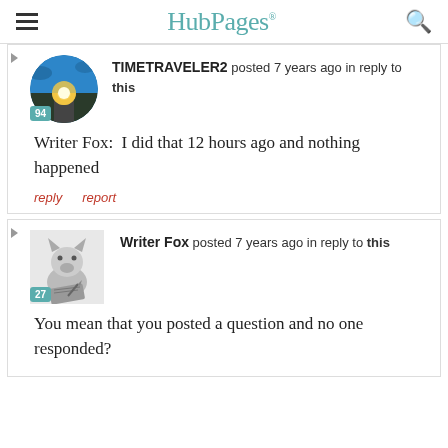HubPages
TIMETRAVELER2 posted 7 years ago in reply to this
Writer Fox:  I did that 12 hours ago and nothing happened
reply   report
Writer Fox posted 7 years ago in reply to this
You mean that you posted a question and no one responded?